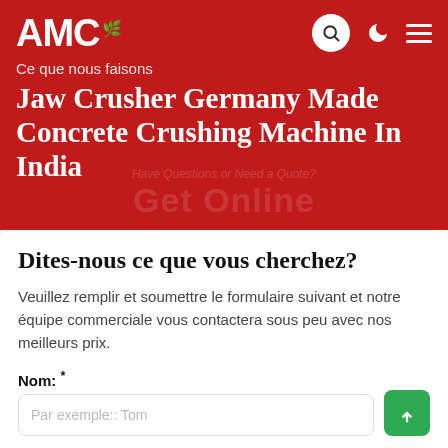AMC
Ce que nous faisons
Jaw Crusher Germany Made Concrete Crushing Machine In India
Dites-nous ce que vous cherchez?
Veuillez remplir et soumettre le formulaire suivant et notre équipe commerciale vous contactera sous peu avec nos meilleurs prix.
Nom: *
Par exemple:: Tom
E-mail: *
Par exemple: vip@shanghaimeilan.com